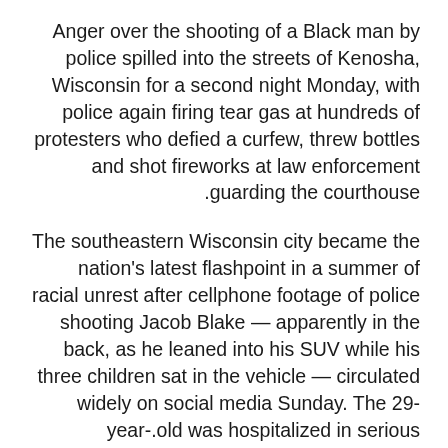Anger over the shooting of a Black man by police spilled into the streets of Kenosha, Wisconsin for a second night Monday, with police again firing tear gas at hundreds of protesters who defied a curfew, threw bottles and shot fireworks at law enforcement guarding the courthouse.
The southeastern Wisconsin city became the nation's latest flashpoint in a summer of racial unrest after cellphone footage of police shooting Jacob Blake — apparently in the back, as he leaned into his SUV while his three children sat in the vehicle — circulated widely on social media Sunday. The 29-year-old was hospitalized in serious condition